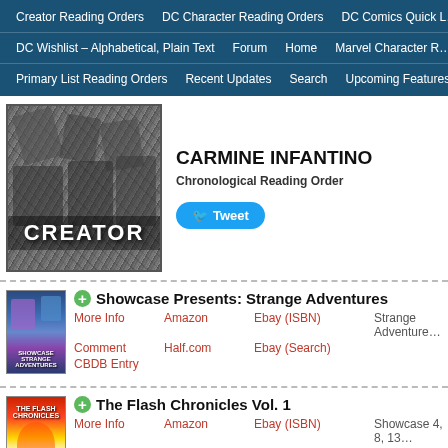Creator Reading Orders | DC Character Reading Orders | DC Comics Quick L…
DC Wishlist – Alphabetical, Plain Text | Forum | Home | Marvel Character R…
Primary List Reading Orders | Recent Updates | Search | Upcoming Features…
[Figure (illustration): Black and white comic book art showing superheroes with 'CREATOR' label overlay]
CARMINE INFANTINO
Chronological Reading Order
Tweet
Showcase Presents: Strange Adventures
More Info | Amazon | Ebay (ISBN) | Strange Adventure… | Comment | Half.com | Ebay (Search) | CBDB Entry
[Figure (illustration): Showcase Presents Strange Adventures book cover thumbnail]
The Flash Chronicles Vol. 1
More Info | Amazon | Ebay (ISBN) | Showcase 4, 8, 13… | 1 Comment | Half.com | Ebay (Search) | Fla… | CBDB Entry
[Figure (illustration): The Flash Chronicles Vol. 1 book cover thumbnail]